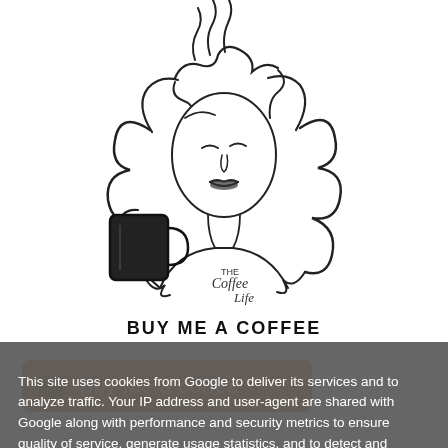[Figure (illustration): Line drawing illustration of a woman with long curly hair holding a steaming mug of coffee. Text on her shirt reads 'THE Coffee Life' in cursive.]
BUY ME A COFFEE
[Figure (screenshot): Orange button with a coffee cup icon and italic text 'Buy me a coffee']
This site uses cookies from Google to deliver its services and to analyze traffic. Your IP address and user-agent are shared with Google along with performance and security metrics to ensure quality of service, generate usage statistics, and to detect and address abuse.
LEARN MORE    OK
CONTACT ME